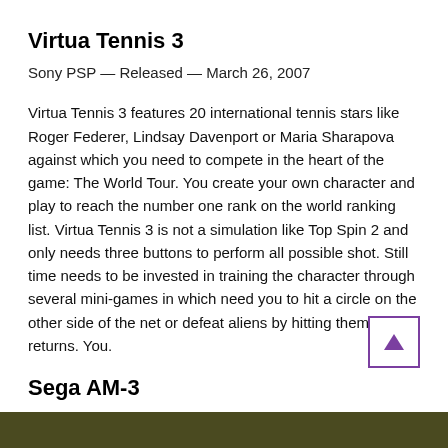Virtua Tennis 3
Sony PSP — Released — March 26, 2007
Virtua Tennis 3 features 20 international tennis stars like Roger Federer, Lindsay Davenport or Maria Sharapova against which you need to compete in the heart of the game: The World Tour. You create your own character and play to reach the number one rank on the world ranking list. Virtua Tennis 3 is not a simulation like Top Spin 2 and only needs three buttons to perform all possible shot. Still time needs to be invested in training the character through several mini-games in which need you to hit a circle on the other side of the net or defeat aliens by hitting them with returns. You.
Sega AM-3
[Figure (photo): Dark olive/brown background image at the bottom of the page]